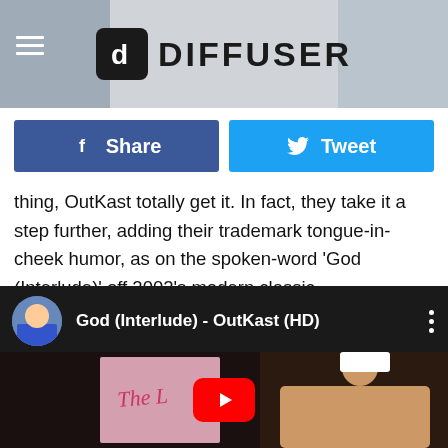DIFFUSER
Share
Tweet
thing, OutKast totally get it. In fact, they take it a step further, adding their trademark tongue-in-cheek humor, as on the spoken-word 'God (Interlude)' off 2002's modern classic 'Speakerboxxx/The Love Below.' As musical satirist Frank Zappa once rhetorically asked, "Does humor belong in music?" Sure it does — and when it works, why label?
[Figure (screenshot): YouTube video embed showing 'God (Interlude) - OutKast (HD)' with a thumbnail of a man in a white hat, red play button overlay, and circular avatar thumbnail in the top bar.]